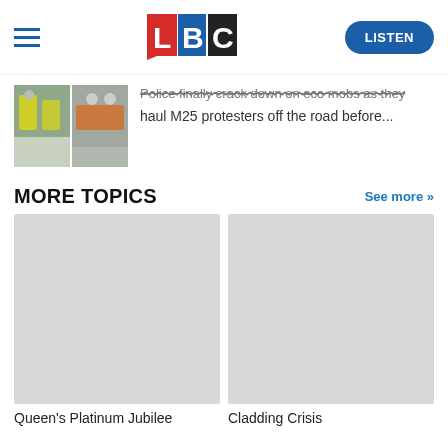LBC — LISTEN
Police finally crack down on eco mobs as they haul M25 protesters off the road before...
MORE TOPICS
See more »
[Figure (photo): Topic card image placeholder — Queen's Platinum Jubilee]
Queen's Platinum Jubilee
[Figure (photo): Topic card image placeholder — Cladding Crisis]
Cladding Crisis